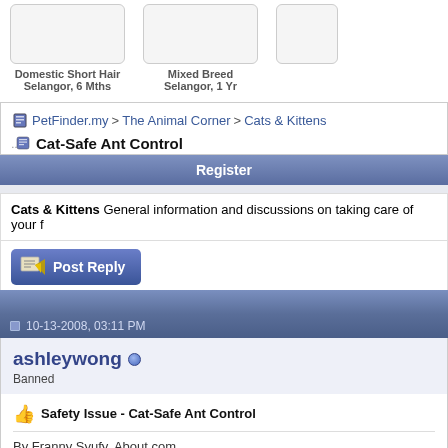[Figure (screenshot): Two pet thumbnails: Domestic Short Hair, Selangor 6 Mths and Mixed Breed, Selangor 1 Yr]
Domestic Short Hair
Selangor, 6 Mths
Mixed Breed
Selangor, 1 Yr
PetFinder.my > The Animal Corner > Cats & Kittens
Cat-Safe Ant Control
Register
Cats & Kittens General information and discussions on taking care of your f...
[Figure (screenshot): Post Reply button]
10-13-2008, 03:11 PM
ashleywong
Banned
Safety Issue - Cat-Safe Ant Control
By Franny Syufy, About.com
Are you troubled by ants, but don't want to endanger your cat with